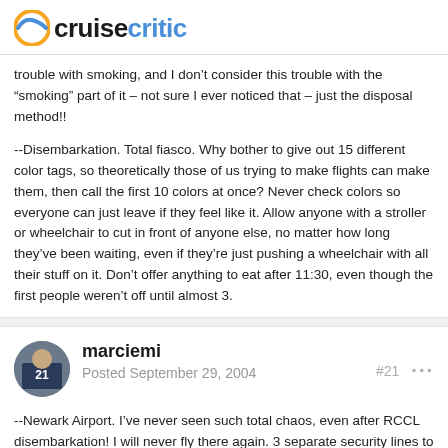cruisecritic
trouble with smoking, and I don’t consider this trouble with the “smoking” part of it – not sure I ever noticed that – just the disposal method!!
--Disembarkation. Total fiasco. Why bother to give out 15 different color tags, so theoretically those of us trying to make flights can make them, then call the first 10 colors at once? Never check colors so everyone can just leave if they feel like it. Allow anyone with a stroller or wheelchair to cut in front of anyone else, no matter how long they’ve been waiting, even if they’re just pushing a wheelchair with all their stuff on it. Don’t offer anything to eat after 11:30, even though the first people weren’t off until almost 3.
marciemi
Posted September 29, 2004
#21
--Newark Airport. I’ve never seen such total chaos, even after RCCL disembarkation! I will never fly there again. 3 separate security lines to go